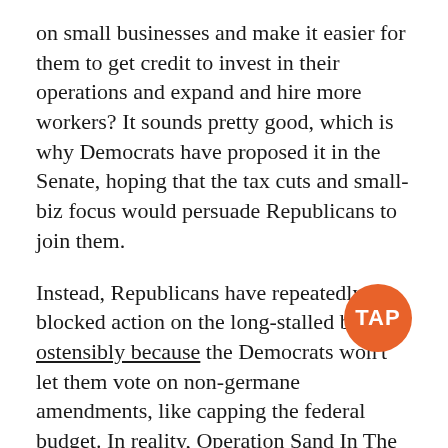on small businesses and make it easier for them to get credit to invest in their operations and expand and hire more workers? It sounds pretty good, which is why Democrats have proposed it in the Senate, hoping that the tax cuts and small-biz focus would persuade Republicans to join them.
Instead, Republicans have repeatedly blocked action on the long-stalled bill, ostensibly because the Democrats won't let them vote on non-germane amendments, like capping the federal budget. In reality, Operation Sand In The Gears of Progress continues apace, with Republicans hoping to reap political gain from Democratic obstruction.
[Figure (logo): TAP logo — orange circle with white bold text 'TAP']
Speaking to reporters yesterday, a senior administration official said there was an